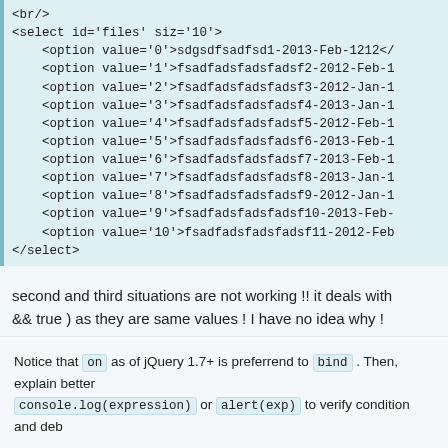<br/>
<select id='files' siz='10'>
    <option value='0'>sdgsdfsadfsd1-2013-Feb-1212</
    <option value='1'>fsadfadsfadsfadsf2-2012-Feb-1
    <option value='2'>fsadfadsfadsfadsf3-2012-Jan-1
    <option value='3'>fsadfadsfadsfadsf4-2013-Jan-1
    <option value='4'>fsadfadsfadsfadsf5-2012-Feb-1
    <option value='5'>fsadfadsfadsfadsf6-2013-Feb-1
    <option value='6'>fsadfadsfadsfadsf7-2013-Feb-1
    <option value='7'>fsadfadsfadsfadsf8-2013-Jan-1
    <option value='8'>fsadfadsfadsfadsf9-2012-Jan-1
    <option value='9'>fsadfadsfadsfadsf10-2013-Feb-
    <option value='10'>fsadfadsfadsfadsf11-2012-Feb
</select>
second and third situations are not working !! it deals with && true ) as they are same values ! I have no idea why !
javascript
sorting
drop-down-menu
multiple-conditions
Notice that on as of jQuery 1.7+ is preferrend to bind . Then, explain better console.log(expression) or alert(exp) to verify condition and deb